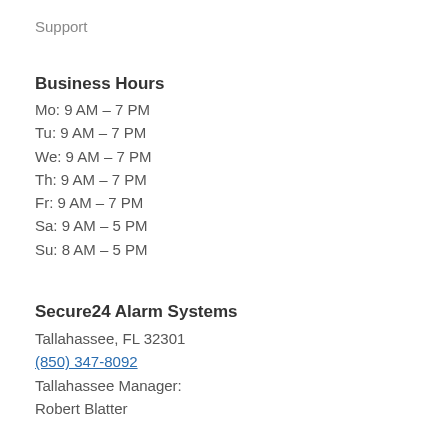Support
Business Hours
Mo: 9 AM – 7 PM
Tu: 9 AM – 7 PM
We: 9 AM – 7 PM
Th: 9 AM – 7 PM
Fr: 9 AM – 7 PM
Sa: 9 AM – 5 PM
Su: 8 AM – 5 PM
Secure24 Alarm Systems
Tallahassee, FL 32301
(850) 347-8092
Tallahassee Manager:
Robert Blatter